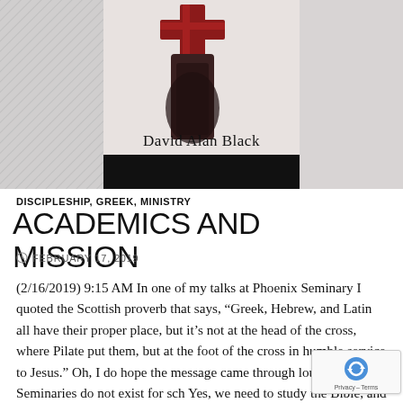[Figure (photo): Book cover image showing a cross with 'David Alan Black' text below, and a dark banner/bar beneath that]
DISCIPLESHIP, GREEK, MINISTRY
ACADEMICS AND MISSION
FEBRUARY 17, 2019
(2/16/2019) 9:15 AM In one of my talks at Phoenix Seminary I quoted the Scottish proverb that says, “Greek, Hebrew, and Latin all have their proper place, but it’s not at the head of the cross, where Pilate put them, but at the foot of the cross in humble service to Jesus.” Oh, I do hope the message came through loud and clear. Seminaries do not exist for sch Yes, we need to study the Bible, and study it carefully. goal of the careful study of the Bible is not the careful study of